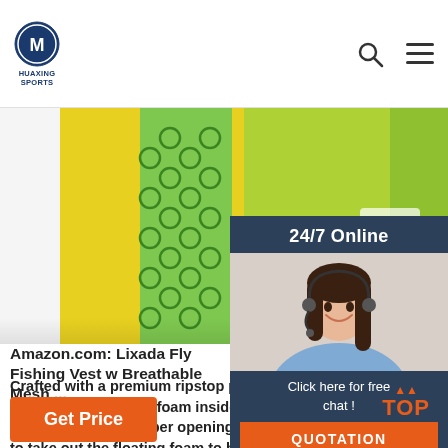HUAXING SPORTS
[Figure (photo): Green and yellow Lixada fly fishing vest / flotation aid product photo, close-up showing neoprene material with circular texture pattern]
[Figure (photo): 24/7 Online chat widget showing a smiling woman with headset, with 'Click here for free chat!' text and QUOTATION button]
Amazon.com: Lixada Fly Fishing Vest w Breathable Mesh ...
Crafted with a premium ripstop polyester and replaceable EPE foam inside for superior buoyancy. Inside zipper opening for convenient to take out the floating foam to be a super thin and breathable vest. Four generous chest pocket, four zipped front pockets, ...
Get Price